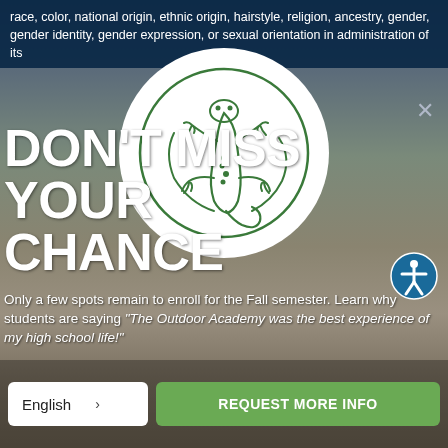race, color, national origin, ethnic origin, hairstyle, religion, ancestry, gender, gender identity, gender expression, or sexual orientation in administration of its
[Figure (logo): Circular white badge with green line-art gecko/salamander logo for The Outdoor Academy]
DON'T MISS YOUR CHANCE
Only a few spots remain to enroll for the Fall semester. Learn why students are saying "The Outdoor Academy was the best experience of my high school life!"
English > | REQUEST MORE INFO